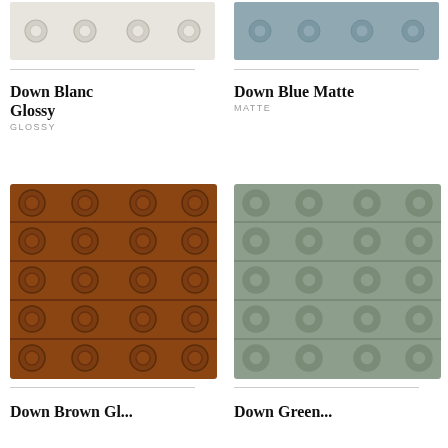[Figure (photo): Down Blanc Glossy ceramic tile swatch showing off-white gloss tiles with circular embossed dots in a grid pattern]
[Figure (photo): Down Blue Matte ceramic tile swatch showing muted blue-grey matte tiles with circular embossed dots in a grid pattern]
Down Blanc Glossy
GLOSSY
Down Blue Matte
MATTE
[Figure (photo): Brown/terracotta glossy ceramic tile swatch with circular embossed studs arranged in rows, 5 rows visible]
[Figure (photo): Sage/grey-green matte ceramic tile swatch with circular embossed dots arranged in rows, 5 rows visible]
Down Brown Gl...
Down Green...